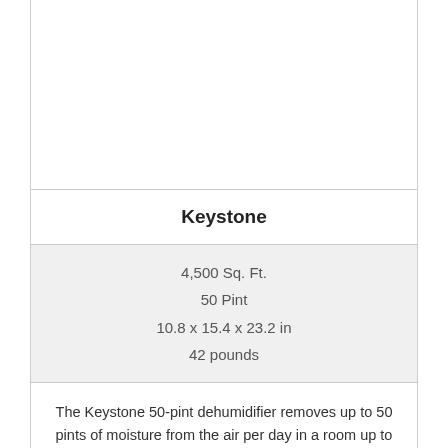[Figure (photo): Product image placeholder (white/blank area for Keystone dehumidifier)]
Keystone
4,500 Sq. Ft.
50 Pint
10.8 x 15.4 x 23.2 in
42 pounds
The Keystone 50-pint dehumidifier removes up to 50 pints of moisture from the air per day in a room up to 4500 square feet.
View Latest Price